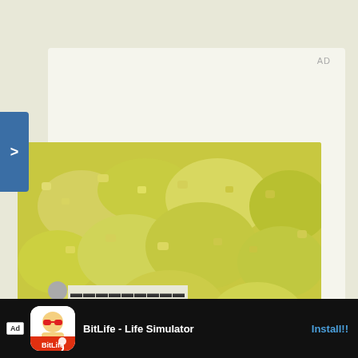[Figure (photo): Close-up photo of chopped yellow/green vegetables (possibly potato salad or chopped onion) on a white plate, with chopped parsley visible in the lower left corner, on a pink/purple background.]
[Figure (screenshot): Video overlay thumbnail showing 'Crab Balls' text over a dark image of crab ball seafood items being brushed, with a play button in the lower left and a close (X) button in the upper right.]
AD
[Figure (photo): Advertisement banner at the bottom: BitLife - Life Simulator app ad with app icon, 'Ad' badge, app name, and 'Install!!' call to action button.]
BitLife - Life Simulator
Install!!